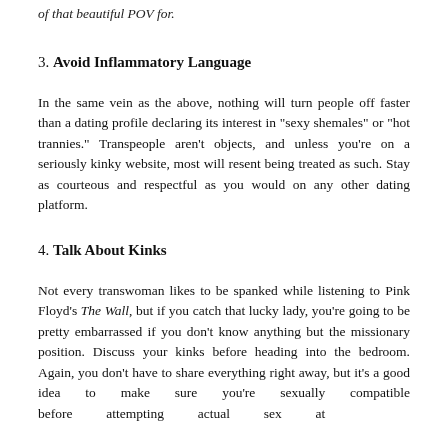of that beautiful POV for.
3. Avoid Inflammatory Language
In the same vein as the above, nothing will turn people off faster than a dating profile declaring its interest in “sexy shemales” or “hot trannies.” Transpeople aren’t objects, and unless you’re on a seriously kinky website, most will resent being treated as such. Stay as courteous and respectful as you would on any other dating platform.
4. Talk About Kinks
Not every transwoman likes to be spanked while listening to Pink Floyd’s The Wall, but if you catch that lucky lady, you’re going to be pretty embarrassed if you don’t know anything but the missionary position. Discuss your kinks before heading into the bedroom. Again, you don’t have to share everything right away, but it’s a good idea to make sure you’re sexually compatible before attempting actual sex at